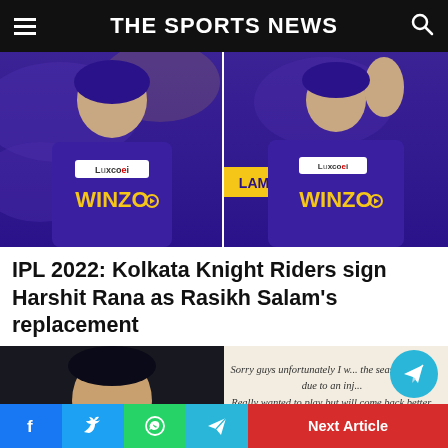THE SPORTS NEWS
[Figure (photo): Two Kolkata Knight Riders players in purple WINZO jerseys with LuxCozi sponsor badges, side by side]
IPL 2022: Kolkata Knight Riders sign Harshit Rana as Rasikh Salam's replacement
[Figure (photo): Left: a cricket player's face in dark background; Right: handwritten-style text reading 'Sorry guys unfortunately I... the season of IPL due to an inj... Really wanted to play but will come back better.' with a Telegram button overlay]